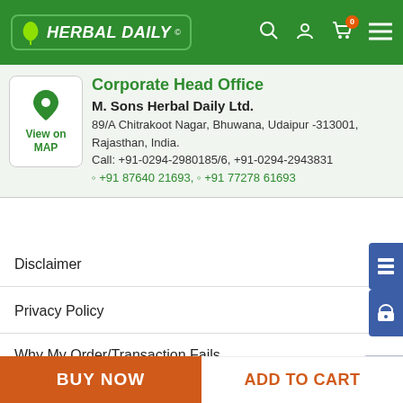[Figure (screenshot): Herbal Daily website header with green background, logo, search, user, cart (badge 0), and hamburger menu icons]
Corporate Head Office
M. Sons Herbal Daily Ltd.
89/A Chitrakoot Nagar, Bhuwana, Udaipur -313001, Rajasthan, India.
Call: +91-0294-2980185/6, +91-0294-2943831
☐ +91 87640 21693, ☐ +91 77278 61693
Disclaimer
Privacy Policy
Why My Order/Transaction Fails
Track My Order
Sales Representative (MR) Form
Shipping and Return Policy
BUY NOW
ADD TO CART